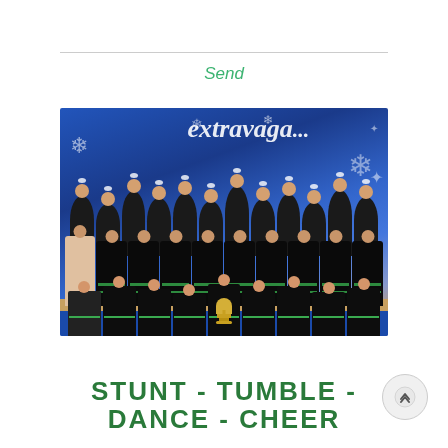Send
[Figure (photo): Group photo of a cheerleading team in black and green uniforms posing in front of a blue banner reading 'extravaga...' with snowflake decorations. The team is holding a trophy.]
STUNT - TUMBLE - DANCE - CHEER